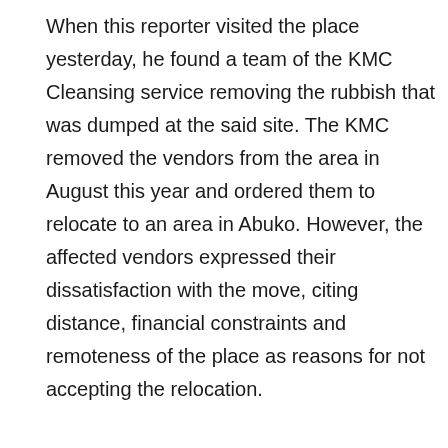When this reporter visited the place yesterday, he found a team of the KMC Cleansing service removing the rubbish that was dumped at the said site. The KMC removed the vendors from the area in August this year and ordered them to relocate to an area in Abuko. However, the affected vendors expressed their dissatisfaction with the move, citing distance, financial constraints and remoteness of the place as reasons for not accepting the relocation.